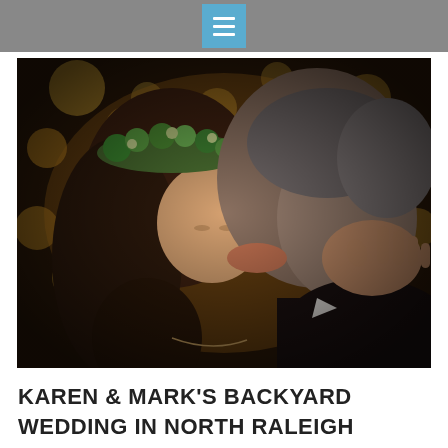[Figure (photo): A bride and groom sharing a kiss. The bride wears a floral crown made of greenery and has long brown hair. The groom is in a dark suit. The background shows warm bokeh lights, suggesting string lights or fairy lights.]
KAREN & MARK'S BACKYARD WEDDING IN NORTH RALEIGH